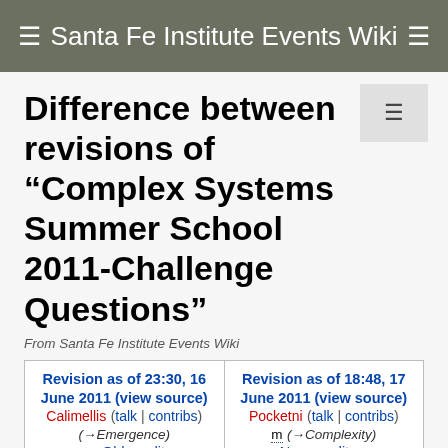Santa Fe Institute Events Wiki
Difference between revisions of "Complex Systems Summer School 2011-Challenge Questions"
From Santa Fe Institute Events Wiki
| Revision as of 23:30, 16 June 2011 (view source) | Revision as of 18:48, 17 June 2011 (view source) |
| --- | --- |
| Calimellis (talk | contribs) | Pocketni (talk | contribs) |
| (→Emergence) | m (→Complexity) |
| ← Older edit | Newer edit → |
| Line 51: | Line 51: |